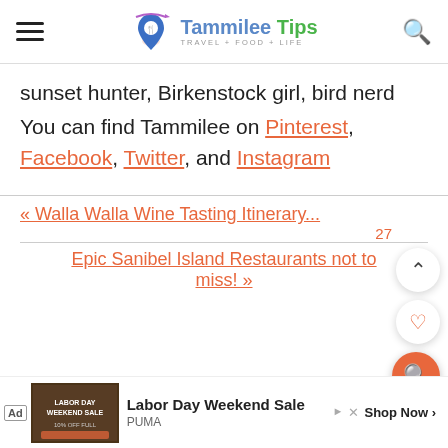Tammilee Tips – Travel + Food + Life
sunset hunter, Birkenstock girl, bird nerd You can find Tammilee on Pinterest, Facebook, Twitter, and Instagram
« Walla Walla Wine Tasting Itinerary
27
Epic Sanibel Island Restaurants not to miss! »
[Figure (screenshot): Ad banner: Labor Day Weekend Sale – PUMA. Shop Now >]